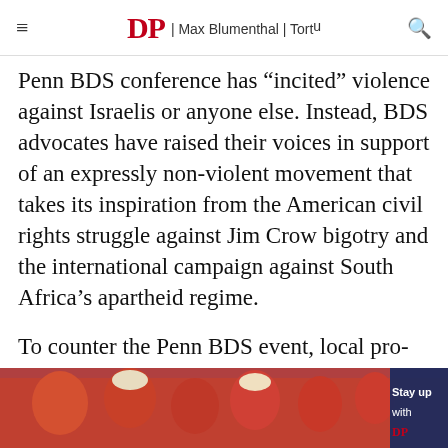≡  DP | Max Blumenthal | Tortu  🔍
Penn BDS conference has “incited” violence against Israelis or anyone else. Instead, BDS advocates have raised their voices in support of an expressly non-violent movement that takes its inspiration from the American civil rights struggle against Jim Crow bigotry and the international campaign against South Africa’s apartheid regime.
To counter the Penn BDS event, local pro-Israel groups including Hillel and the Philadelphia
[Figure (photo): Photo of people in red shirts cheering at an event, with a dark blue banner overlay on the right reading 'Stay up with']